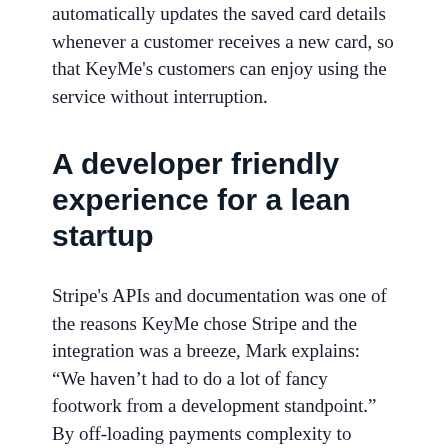automatically updates the saved card details whenever a customer receives a new card, so that KeyMe's customers can enjoy using the service without interruption.
A developer friendly experience for a lean startup
Stripe's APIs and documentation was one of the reasons KeyMe chose Stripe and the integration was a breeze, Mark explains: “We haven’t had to do a lot of fancy footwork from a development standpoint.” By off-loading payments complexity to Stripe, KeyMe has kept the number of engineers focused on payments at zero. And in the Dashboard today, operations and finance teams across KeyMe have access to all the data they need to understand the health of their